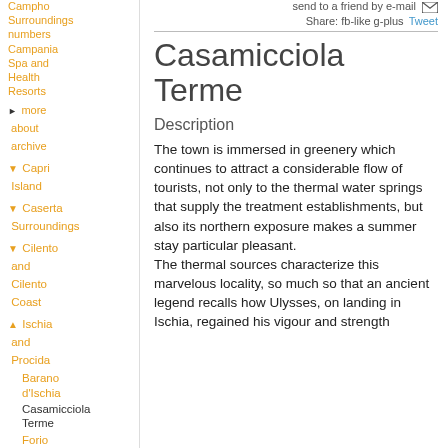Campania Surroundings numbers
Campania Spa and Health Resorts
more about archive
Capri Island
Caserta Surroundings
Cilento and Cilento Coast
Ischia and Procida
Barano d'Ischia
Casamicciola Terme
Forio d'Ischia
Ischia
Lacco Ameno
Procida
Serrara Fontana
send to a friend by e-mail
Share: fb-like g-plus Tweet
Casamicciola Terme
Description
The town is immersed in greenery which continues to attract a considerable flow of tourists, not only to the thermal water springs that supply the treatment establishments, but also its northern exposure makes a summer stay particular pleasant. The thermal sources characterize this marvelous locality, so much so that an ancient legend recalls how Ulysses, on landing in Ischia, regained his vigour and strength